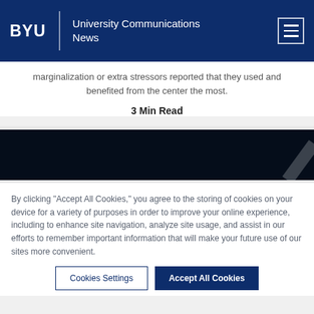BYU | University Communications News
marginalization or extra stressors reported that they used and benefited from the center the most.
3 Min Read
[Figure (photo): Dark/black image strip with a faint diagonal white line in the lower right corner.]
By clicking "Accept All Cookies," you agree to the storing of cookies on your device for a variety of purposes in order to improve your online experience, including to enhance site navigation, analyze site usage, and assist in our efforts to remember important information that will make your future use of our sites more convenient.
Cookies Settings    Accept All Cookies